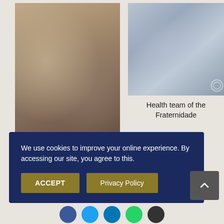[Figure (photo): Person kneeling to assist injured immigrant sitting in chair, receiving crutches, in an outdoor shelter setting]
Immigrant receives crutches
[Figure (photo): Health team of the Fraternidade treating people at tables in a large indoor space]
Health team of the Fraternidade
We use cookies to improve your online experience. By accessing our site, you agree to this.
ACCEPT
Privacy Policy